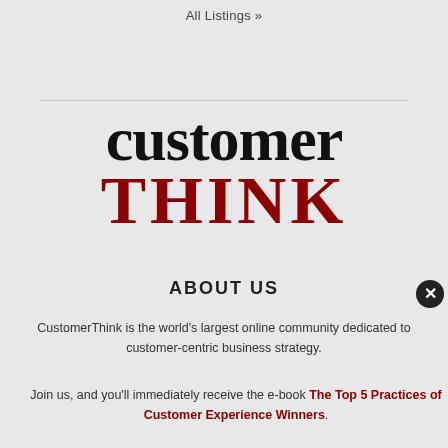All Listings »
[Figure (logo): CustomerThink logo — 'customer' in large black serif text, 'THINK' in large dark red serif text below]
ABOUT US
CustomerThink is the world's largest online community dedicated to customer-centric business strategy.
Join us, and you'll immediately receive the e-book The Top 5 Practices of Customer Experience Winners.